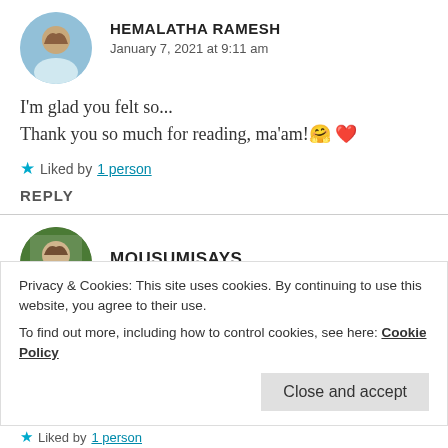[Figure (photo): Circular avatar photo of Hemalatha Ramesh, a person against a blue sky background]
HEMALATHA RAMESH
January 7, 2021 at 9:11 am
I'm glad you felt so...
Thank you so much for reading, ma'am! 🤗 ❤️
★ Liked by 1 person
REPLY
[Figure (photo): Circular avatar photo of Mousumisays, a person with green background]
MOUSUMISAYS
Privacy & Cookies: This site uses cookies. By continuing to use this website, you agree to their use.
To find out more, including how to control cookies, see here: Cookie Policy
Close and accept
★ Liked by 1 person